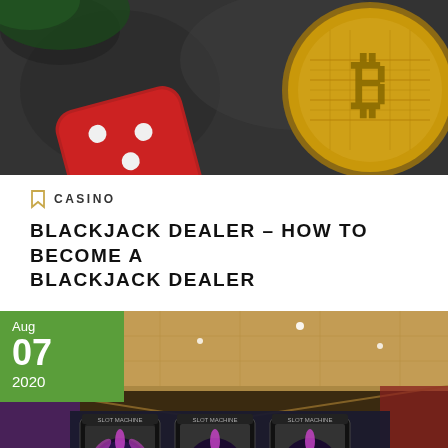[Figure (photo): A gold Bitcoin coin and a red dice on a dark stone surface, viewed from above.]
CASINO
BLACKJACK DEALER – HOW TO BECOME A BLACKJACK DEALER
[Figure (photo): Interior of a casino with colorful slot machines and glowing displays, with a warm-lit ceiling. Date badge shows Aug 07 2020.]